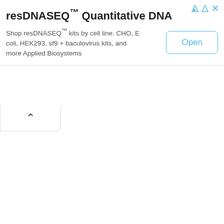resDNASEQ™ Quantitative DNA
Shop resDNASEQ™ kits by cell line. CHO, E coli, HEK293, sf9 + baculovirus kits, and more Applied Biosystems
[Figure (screenshot): Open button — rounded rectangle with blue border and blue 'Open' text label]
[Figure (other): Chevron/caret up icon inside a rounded tab at bottom-left of the ad banner]